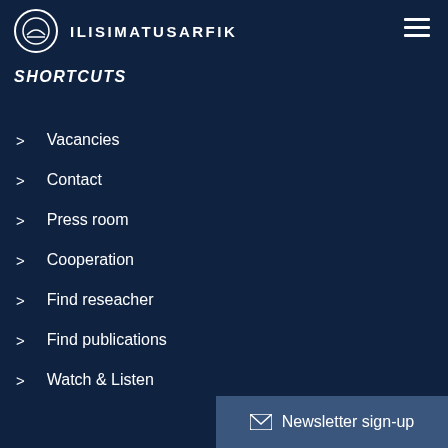ILISIMATUSARFIK
SHORTCUTS
Vacancies
Contact
Press room
Cooperation
Find reseacher
Find publications
Watch & Listen
Public lectures
Find employee
Newsletter sign-up